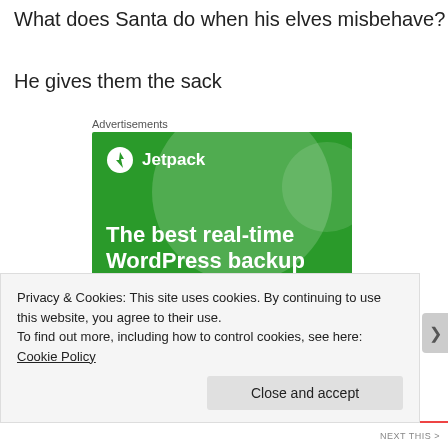What does Santa do when his elves misbehave?
He gives them the sack
Advertisements
[Figure (illustration): Jetpack advertisement banner on green background. Shows Jetpack logo with lightning bolt icon, tagline 'The best real-time WordPress backup plugin', and a white button reading 'Back up your site'.]
Privacy & Cookies: This site uses cookies. By continuing to use this website, you agree to their use.
To find out more, including how to control cookies, see here: Cookie Policy